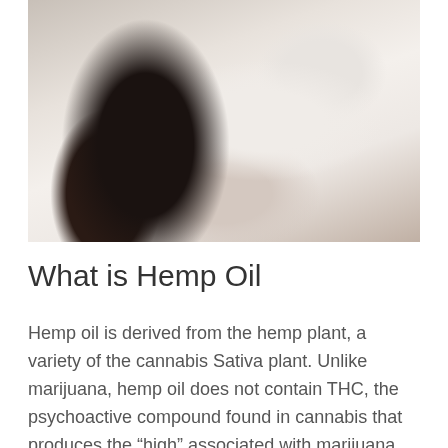[Figure (photo): A young woman with long dark curly hair lying on a white surface, smiling and looking up at the camera, wearing white clothing.]
What is Hemp Oil
Hemp oil is derived from the hemp plant, a variety of the cannabis Sativa plant. Unlike marijuana, hemp oil does not contain THC, the psychoactive compound found in cannabis that produces the "high" associated with marijuana